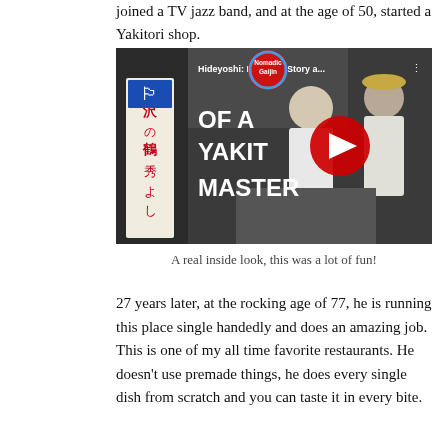joined a TV jazz band, and at the age of 50, started a Yakitori shop.
[Figure (screenshot): YouTube video thumbnail showing two men cooking yakitori. Title reads 'Hideyoshi: Inspiring Story a... OF A YAKITO MASTER'. Nomadic Gaijin logo visible in top left. Red YouTube play button in center.]
A real inside look, this was a lot of fun!
27 years later, at the rocking age of 77, he is running this place single handedly and does an amazing job. This is one of my all time favorite restaurants. He doesn't use premade things, he does every single dish from scratch and you can taste it in every bite.